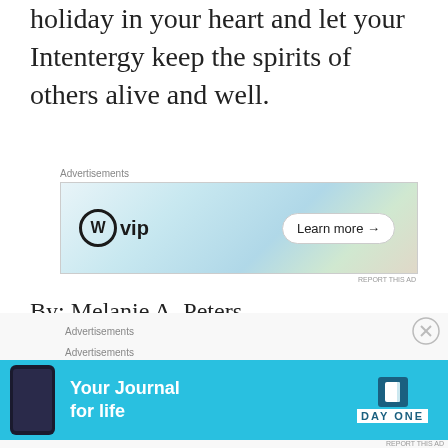holiday in your heart and let your Intentergy keep the spirits of others alive and well.
[Figure (other): Advertisement banner for WordPress VIP featuring the WordPress logo, product brand logos (Slack, Facebook), and a 'Learn more' button]
By: Melanie A. Peters
P.S. If you still have your tree up, that's cool.
[Figure (other): Advertisement banner for Day One journal app with blue background, phone mockup, 'Your Journal for life' text and Day One logo]